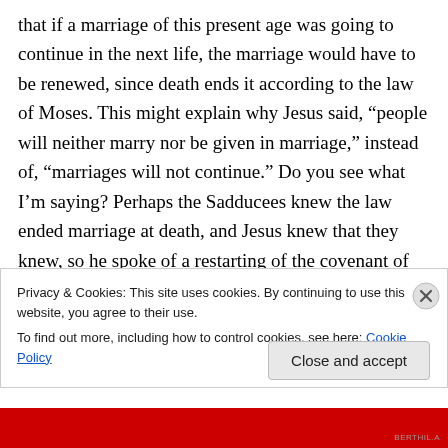that if a marriage of this present age was going to continue in the next life, the marriage would have to be renewed, since death ends it according to the law of Moses. This might explain why Jesus said, “people will neither marry nor be given in marriage,” instead of, “marriages will not continue.” Do you see what I’m saying? Perhaps the Sadducees knew the law ended marriage at death, and Jesus knew that they knew, so he spoke of a restarting of the covenant of marriage in eternity.
Privacy & Cookies: This site uses cookies. By continuing to use this website, you agree to their use.
To find out more, including how to control cookies, see here: Cookie Policy